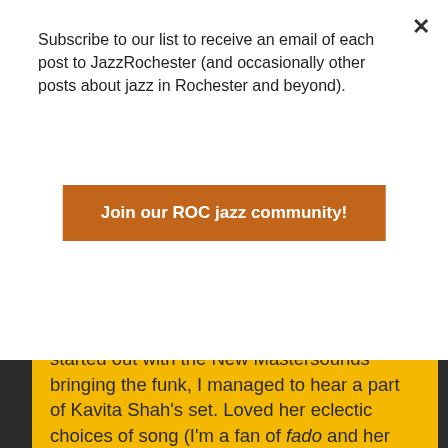Subscribe to our list to receive an email of each post to JazzRochester (and occasionally other posts about jazz in Rochester and beyond).
Join our ROC jazz community!
started out with the New Mastersounds bringing the funk, I managed to hear a part of Kavita Shah's set. Loved her eclectic choices of song (I'm a fan of fado and her rendition of Cesaria Evora's Soldade was the bomb). Then after catching some great sandwich action at the BrickNMotor food truck, caught Music Music Music at the Lutheran Church. This trio of Swedes played a great set of trio jazz, intricate and complex, and very satisfying. Missed them last time they appeared, so was glad I took a chance to hear them this year.